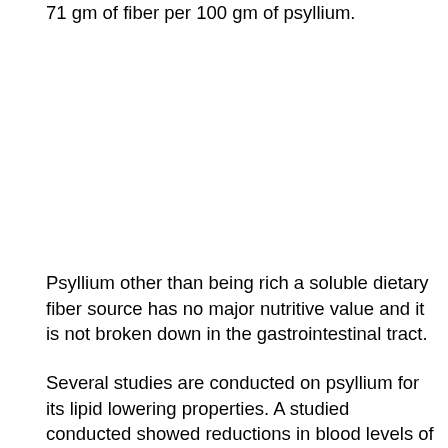71 gm of fiber per 100 gm of psyllium.
Psyllium other than being rich a soluble dietary fiber source has no major nutritive value and it is not broken down in the gastrointestinal tract.
Several studies are conducted on psyllium for its lipid lowering properties. A studied conducted showed reductions in blood levels of total cholesterol and low density lipoprotein (LDL cholesterol) about base